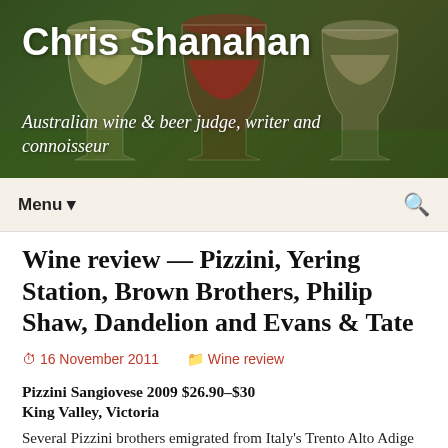Chris Shanahan
Australian wine & beer judge, writer and connoisseur
Wine review — Pizzini, Yering Station, Brown Brothers, Philip Shaw, Dandelion and Evans & Tate
16 November 2011   Wine review
Pizzini Sangiovese 2009 $26.90–$30
King Valley, Victoria
Several Pizzini brothers emigrated from Italy's Trento Alto Adige region in the 1950s, ultimately settling in Myrtleford and growing tobacco. With tobacco increasingly on the